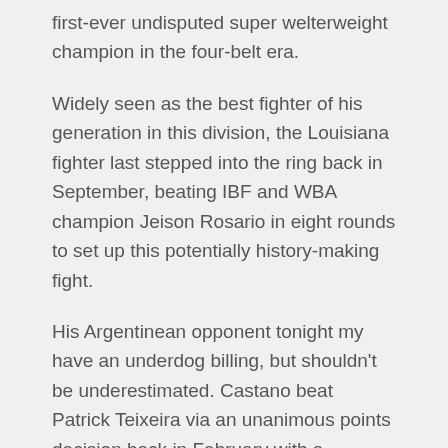first-ever undisputed super welterweight champion in the four-belt era.
Widely seen as the best fighter of his generation in this division, the Louisiana fighter last stepped into the ring back in September, beating IBF and WBA champion Jeison Rosario in eight rounds to set up this potentially history-making fight.
His Argentinean opponent tonight my have an underdog billing, but shouldn't be underestimated. Castano beat Patrick Teixeira via an unanimous points decision back in February with a statement-making performance to claim the WBO belt and will be determined to maintain his 100% record here.
Here's all you need to know about how to watch a Jermell Charlo vs Brian Castano live stream.
Want more brawling? Here's how to watch UFC live